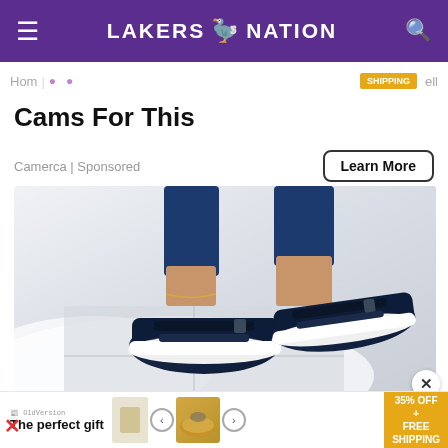LAKERS NATION
Hom | SHIPPING | ell
Cams For This
Camerca | Sponsored
Learn More
[Figure (photo): Woman wearing navy blue sneakers/sandals with velcro straps and white soles, displayed on a white fluffy rug surface.]
×
The perfect gift  35% OFF + FREE SHIPPING